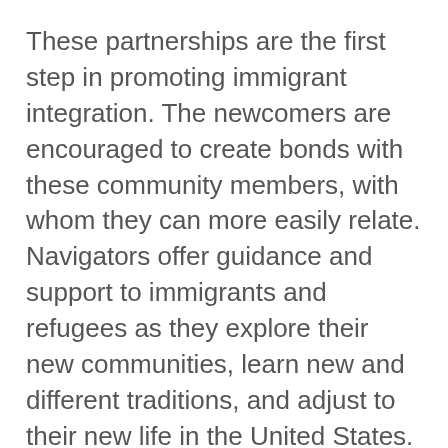These partnerships are the first step in promoting immigrant integration. The newcomers are encouraged to create bonds with these community members, with whom they can more easily relate. Navigators offer guidance and support to immigrants and refugees as they explore their new communities, learn new and different traditions, and adjust to their new life in the United States. The integration and welcoming process is made easier due to this safe and welcoming experience.
Community navigators encourage open discussion between program participants and other allies during frequent community conversations and roundtable discussions that explore different integration issues. The topics vary and are decided based on the needs and wants of the immigrant community. Past topics have included work-based issues, Know Your Rights presentations, learning the process of renting and buying a house, opening a bank account, and most recently, learning how to advocate on behalf of their